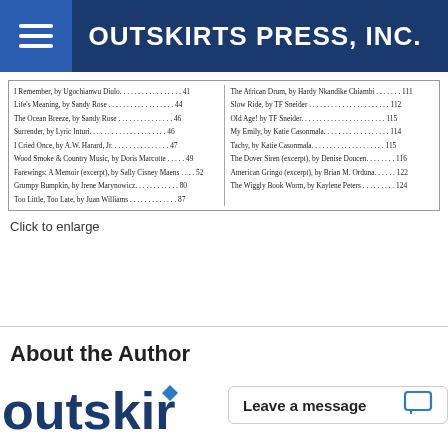OUTSKIRTS PRESS, INC.
| I Remember, by Ugochianwu Diulo. . . . . . . . . . . . . . . . . . 41 | The African Drum, by Hardy Nkandike Chiambi . . . . . . . . 111 |
| Life's Meaning, by Sandy Rose . . . . . . . . . . . . . . . . . . . 44 | Slow Ride, by TF Sneider . . . . . . . . . . . . . . . . . . . . . . . 112 |
| The Ocean Breeze, by Sandy Rose . . . . . . . . . . . . . . . . 46 | Old Age! by TF Sneider. . . . . . . . . . . . . . . . . . . . . . . . 115 |
| Surrender, by Lyric Inturi. . . . . . . . . . . . . . . . . . . . . . 46 | My Emily, by Katie Casonmala. . . . . . . . . . . . . . . . . . . 114 |
| I Cried Once, by A.W. Harard, Jr. . . . . . . . . . . . . . . . . 47 | Tachy, by Katie Casonmala. . . . . . . . . . . . . . . . . . . . . 115 |
| Wood Smoke & Country Music, by Doris Marcotte . . . . . . 49 | The Dover Siren (excerpt), by Denise Doucen. . . . . . . . . 116 |
| Farewings: A Memoir (excerpt), by Sally Cisney Maens . . . . . . 52 | American Gringo (excerpt), by Brian M. Orduna. . . . . . . 122 |
| Grumpy Bumpkin, by Irene Marynowicz. . . . . . . . . . . . . 80 | The Wiggly Book Worm, by Kaylene Peters . . . . . . . . . . 124 |
| Too Little, Too Late, by Juan Williams . . . . . . . . . . . . . . 87 |  |
Click to enlarge
About the Author
[Figure (logo): Outskirts Press logo — partial view showing 'outskir' in dark blue with diamond shape]
Leave a message